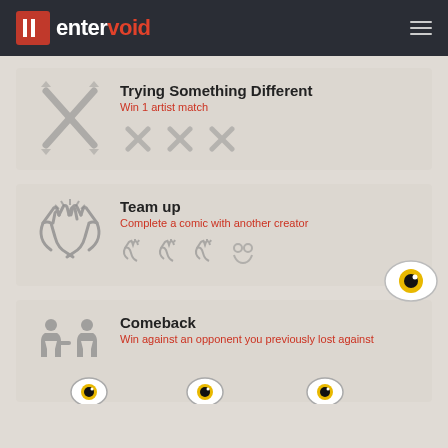entervoid
Trying Something Different
Win 1 artist match
Team up
Complete a comic with another creator
Comeback
Win against an opponent you previously lost against